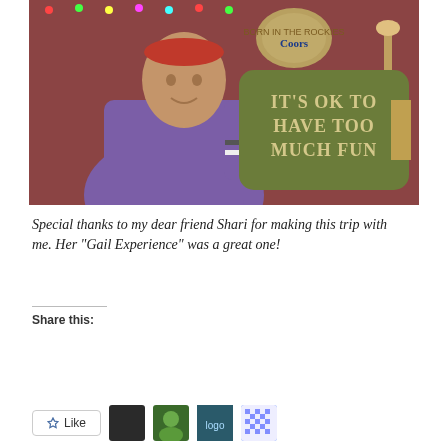[Figure (photo): Woman in purple hoodie and red headband holding a green pillow that reads IT'S OK TO HAVE TOO MUCH FUN, with a Coors Light sign visible in the background]
Special thanks to my dear friend Shari for making this trip with me. Her "Gail Experience" was a great one!
Share this:
[Figure (infographic): Social sharing buttons: Tweet, Share (LinkedIn), Post (Tumblr), Email, Print, Save (Pinterest), Like, and user avatars]
[Figure (photo): Row of user avatar thumbnails and a pixelated pattern icon]